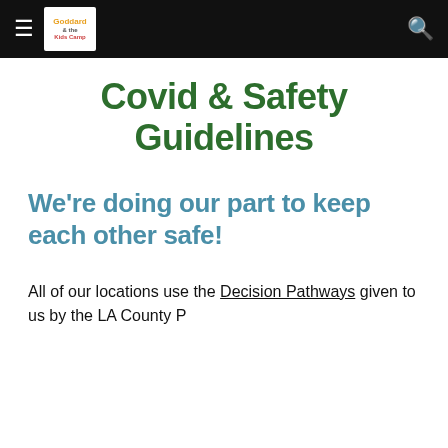≡  [Goddard logo]  🔍
Covid & Safety Guidelines
We're doing our part to keep each other safe!
All of our locations use the Decision Pathways given to us by the LA County Public Health Department for "Governing..."